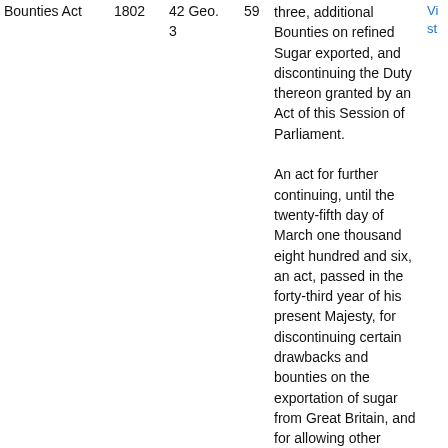| Act Name | Year | Regnal | Chapter | Description | Link |
| --- | --- | --- | --- | --- | --- |
| Bounties Act | 1802 | 42 Geo. 3 | 59 | three, additional Bounties on refined Sugar exported, and discontinuing the Duty thereon granted by an Act of this Session of Parliament.

An act for further continuing, until the twenty-fifth day of March one thousand eight hundred and six, an act, passed in the forty-third year of his present Majesty, for discontinuing certain drawbacks and bounties on the exportation of sugar from Great Britain, and for allowing other | Vi st |
| Bounties and Drawbacks Act | 1805 | 45 Geo. 3 | 24 |  | Vi st |